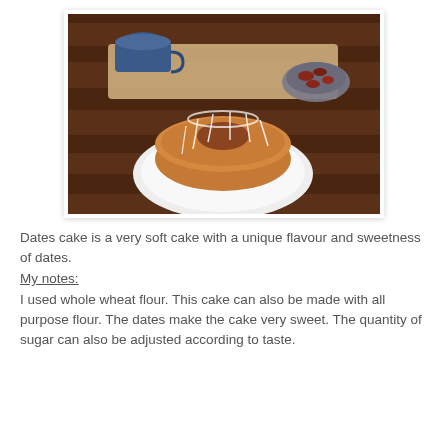[Figure (photo): A glazed bundt cake on a white plate, sitting on a wooden board on a dark wood table. A blue mug and a dish of dates are visible in the background.]
Dates cake is a very soft cake with a unique flavour and sweetness of dates. My notes: I used whole wheat flour. This cake can also be made with all purpose flour. The dates make the cake very sweet. The quantity of sugar can also be adjusted according to taste.